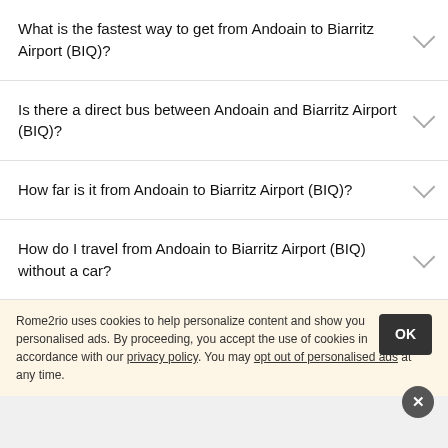What is the fastest way to get from Andoain to Biarritz Airport (BIQ)?
Is there a direct bus between Andoain and Biarritz Airport (BIQ)?
How far is it from Andoain to Biarritz Airport (BIQ)?
How do I travel from Andoain to Biarritz Airport (BIQ) without a car?
Rome2rio uses cookies to help personalize content and show you personalised ads. By proceeding, you accept the use of cookies in accordance with our privacy policy. You may opt out of personalised ads at any time.